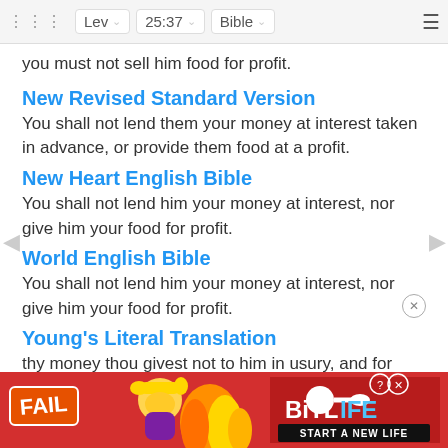Lev  25:37  Bible
you must not sell him food for profit.
New Revised Standard Version
You shall not lend them your money at interest taken in advance, or provide them food at a profit.
New Heart English Bible
You shall not lend him your money at interest, nor give him your food for profit.
World English Bible
You shall not lend him your money at interest, nor give him your food for profit.
Young's Literal Translation
thy money thou givest not to him in usury, and for increase thou givest not thy food;
Addit
[Figure (screenshot): BitLife advertisement banner: red background, FAIL text, cartoon mascot, BitLife logo, START A NEW LIFE tagline]